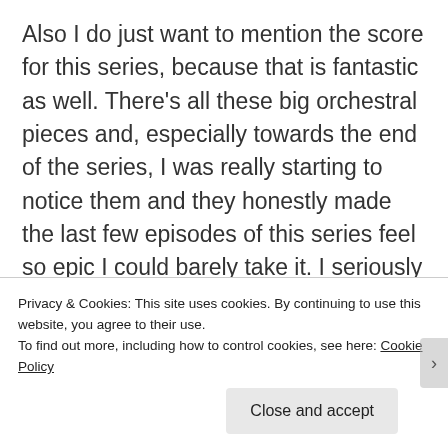Also I do just want to mention the score for this series, because that is fantastic as well. There's all these big orchestral pieces and, especially towards the end of the series, I was really starting to notice them and they honestly made the last few episodes of this series feel so epic I could barely take it. I seriously need to track down this music. While we're on the aesthetics of the series, let's talk about the visuals as well. As I said there's lots of f...
Privacy & Cookies: This site uses cookies. By continuing to use this website, you agree to their use.
To find out more, including how to control cookies, see here: Cookie Policy
Close and accept